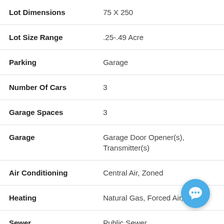| Field | Value |
| --- | --- |
| Lot Dimensions | 75 X 250 |
| Lot Size Range | .25-.49 Acre |
| Parking | Garage |
| Number Of Cars | 3 |
| Garage Spaces | 3 |
| Garage | Garage Door Opener(s), Transmitter(s) |
| Air Conditioning | Central Air, Zoned |
| Heating | Natural Gas, Forced Air, Zoned |
| Sewer | Public Sewer |
[Figure (other): Blue circular chat button with speech bubble icon in bottom-right corner]